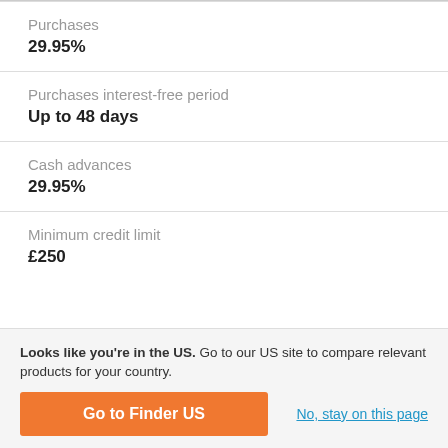Purchases
29.95%
Purchases interest-free period
Up to 48 days
Cash advances
29.95%
Minimum credit limit
£250
Looks like you're in the US. Go to our US site to compare relevant products for your country.
Go to Finder US
No, stay on this page